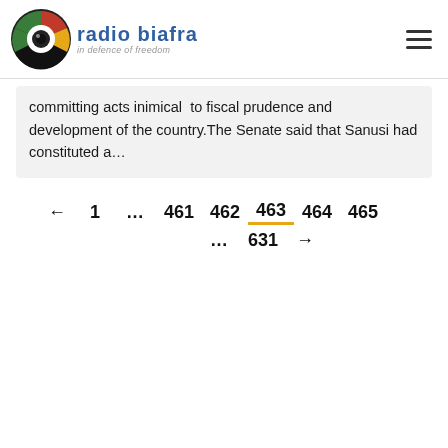[Figure (logo): Radio Biafra logo with circular icon and text 'radio biafra in defence of freedom']
committing acts inimical to fiscal prudence and development of the country.The Senate said that Sanusi had constituted a…
← 1 … 461 462 463 464 465 … 631 →